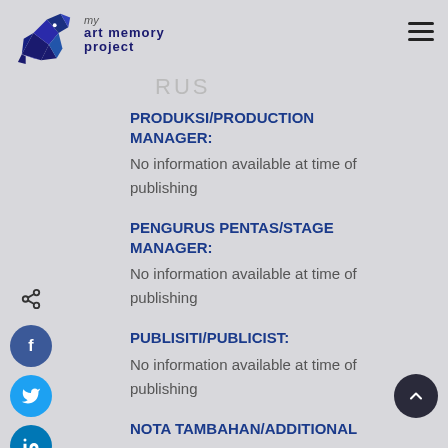[Figure (logo): Art Memory Project logo with geometric elephant and text 'art memory project']
PRODUKSI/PRODUCTION MANAGER:
No information available at time of publishing
PENGURUS PENTAS/STAGE MANAGER:
No information available at time of publishing
PUBLISITI/PUBLICIST:
No information available at time of publishing
NOTA TAMBAHAN/ADDITIONAL